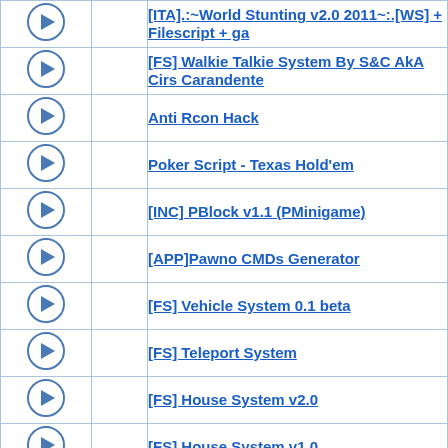| icon | empty | title |
| --- | --- | --- |
| [icon] |  | [ITA].:~World Stunting v2.0 2011~:.[WS] + Filescript + ga |
| [icon] |  | [FS] Walkie Talkie System By S&C AkA Cirs Carandente |
| [icon] |  | Anti Rcon Hack |
| [icon] |  | Poker Script - Texas Hold'em |
| [icon] |  | [INC] PBlock v1.1 (PMinigame) |
| [icon] |  | [APP]Pawno CMDs Generator |
| [icon] |  | [FS] Vehicle System 0.1 beta |
| [icon] |  | [FS] Teleport System |
| [icon] |  | [FS] House System v2.0 |
| [icon] |  | [FS] House System v1.0 |
| [icon-arrow] |  | Spostato: [Help] Cerco scripter |